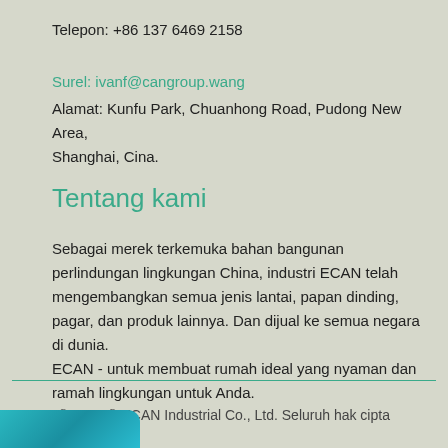Telepon: +86 137 6469 2158
Surel: ivanf@cangroup.wang
Alamat: Kunfu Park, Chuanhong Road, Pudong New Area, Shanghai, Cina.
Tentang kami
Sebagai merek terkemuka bahan bangunan perlindungan lingkungan China, industri ECAN telah mengembangkan semua jenis lantai, papan dinding, pagar, dan produk lainnya. Dan dijual ke semua negara di dunia.
ECAN - untuk membuat rumah ideal yang nyaman dan ramah lingkungan untuk Anda.
© 2021 © ECAN Industrial Co., Ltd. Seluruh hak cipta